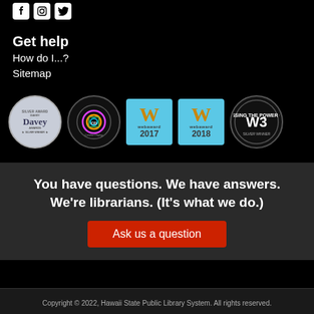[Figure (logo): Three social media icons: Facebook, Instagram, Twitter on black background]
Get help
How do I...?
Sitemap
[Figure (logo): Five award badges: Davey Awards Silver Winner, Creative Display Award, WebAward 2017, WebAward 2018, W3 Silver Winner]
You have questions. We have answers. We're librarians. (It's what we do.)
Ask us a question
Copyright © 2022, Hawaii State Public Library System. All rights reserved.